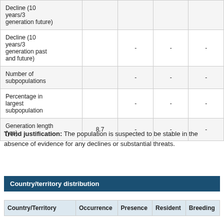|  |  | - | - | - |
| --- | --- | --- | --- | --- |
| Decline (10 years/3 generation future) |  |  |  |  |
| Decline (10 years/3 generation past and future) |  | - | - | - |
| Number of subpopulations |  | - | - | - |
| Percentage in largest subpopulation |  | - | - | - |
| Generation length (yrs) | 8.7 | - | - | - |
Trend justification: The population is suspected to be stable in the absence of evidence for any declines or substantial threats.
Country/territory distribution
| Country/Territory | Occurrence | Presence | Resident | Breeding |
| --- | --- | --- | --- | --- |